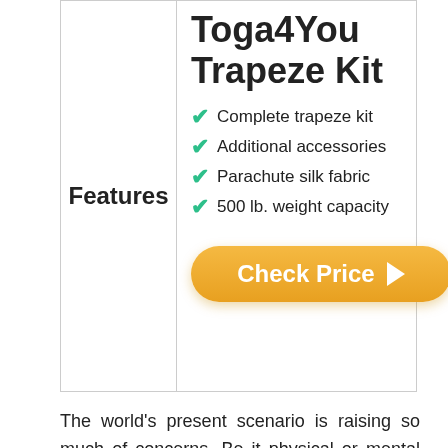Toga4You Trapeze Kit
Features
Complete trapeze kit
Additional accessories
Parachute silk fabric
500 lb. weight capacity
Check Price ▶
The world's present scenario is raising so much of concerns. Be it physical or mental health, there is no peace anywhere near a person. People are so carried away with the rat race, and that there is no peace in ...